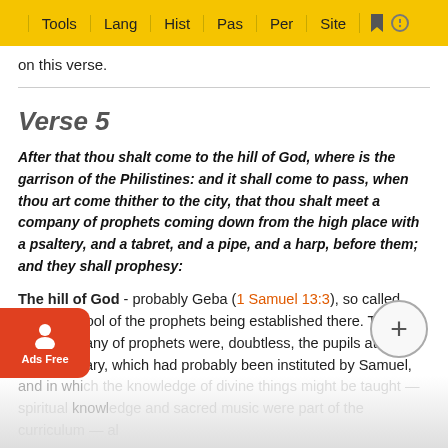Tools | Lang | Hist | Pas | Per | Site
on this verse.
Verse 5
After that thou shalt come to the hill of God, where is the garrison of the Philistines: and it shall come to pass, when thou art come thither to the city, that thou shalt meet a company of prophets coming down from the high place with a psaltery, and a tabret, and a pipe, and a harp, before them; and they shall prophesy:
The hill of God - probably Geba (1 Samuel 13:3), so called from a school of the prophets being established there. The company of prophets were, doubtless, the pupils at this seminary, which had probably been instituted by Samuel, and in whi... knowl... al